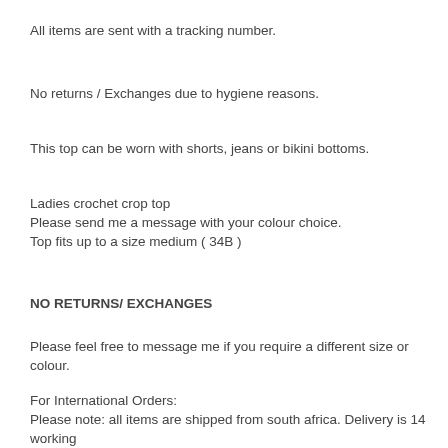All items are sent with a tracking number.
No returns / Exchanges due to hygiene reasons.
This top can be worn with shorts, jeans or bikini bottoms.
Ladies crochet crop top
Please send me a message with your colour choice.
Top fits up to a size medium ( 34B )
NO RETURNS/ EXCHANGES
Please feel free to message me if you require a different size or colour.
For International Orders:
Please note: all items are shipped from south africa. Delivery is 14 working